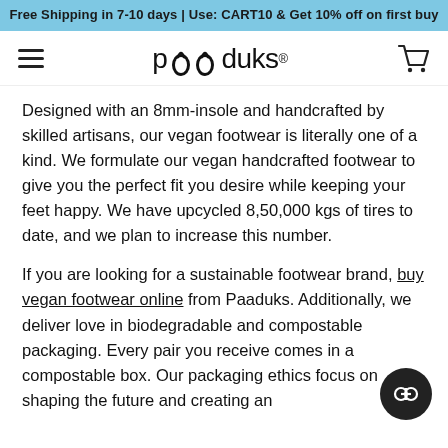Free Shipping in 7-10 days | Use: CART10 & Get 10% off on first buy
[Figure (logo): Paaduks logo with flip-flop icons, hamburger menu, and cart icon in navigation bar]
Designed with an 8mm-insole and handcrafted by skilled artisans, our vegan footwear is literally one of a kind. We formulate our vegan handcrafted footwear to give you the perfect fit you desire while keeping your feet happy. We have upcycled 8,50,000 kgs of tires to date, and we plan to increase this number.
If you are looking for a sustainable footwear brand, buy vegan footwear online from Paaduks. Additionally, we deliver love in biodegradable and compostable packaging. Every pair you receive comes in a compostable box. Our packaging ethics focus on shaping the future and creating an